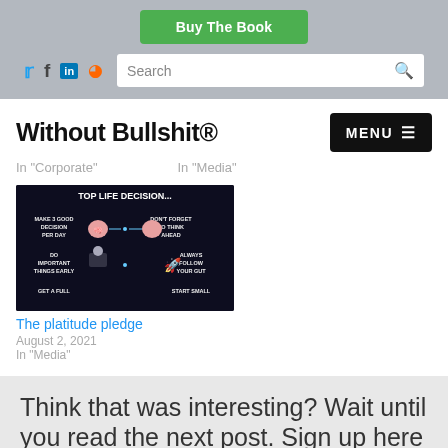[Figure (screenshot): Green 'Buy The Book' button in gray navigation banner]
[Figure (screenshot): Social media icons (Twitter, Facebook, LinkedIn, RSS) and search box in gray banner]
Without Bullshit®
MENU
In "Corporate"
In "Media"
[Figure (infographic): Dark background infographic with productivity tips: MAKE 3 GOOD DECISION PER DAY, DON'T FORGET TO THINK AHEAD, DO IMPORTANT THINGS EARLY, ALWAYS FOLLOW YOUR GUT, GET A FULL..., START SMALL...]
The platitude pledge
August 2, 2021
In "Media"
Think that was interesting? Wait until you read the next post. Sign up here